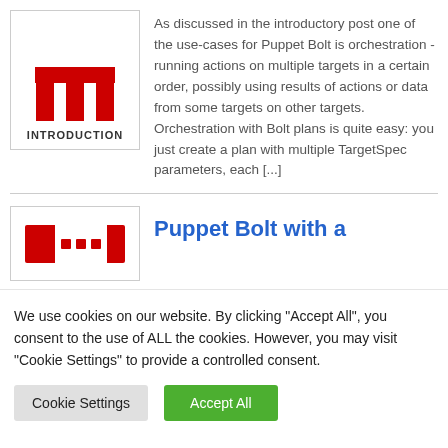[Figure (logo): Red bolt/puppet logo with top bar and two legs, labeled INTRODUCTION]
As discussed in the introductory post one of the use-cases for Puppet Bolt is orchestration - running actions on multiple targets in a certain order, possibly using results of actions or data from some targets on other targets. Orchestration with Bolt plans is quite easy: you just create a plan with multiple TargetSpec parameters, each [...]
[Figure (logo): Red Puppet Bolt logo with left bar, dots, and right bar]
Puppet Bolt with a
We use cookies on our website. By clicking "Accept All", you consent to the use of ALL the cookies. However, you may visit "Cookie Settings" to provide a controlled consent.